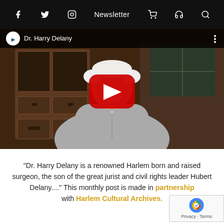f [twitter] [instagram] Newsletter [cart] [podcast] [search]
[Figure (screenshot): YouTube video thumbnail showing Dr. Harry Delany, an elderly man in a grey sweater, seated in front of a wooden cabinet. A red YouTube play button is overlaid at center. The video title bar reads 'Dr. Harry Delany'.]
"Dr. Harry Delany is a renowned Harlem born and raised surgeon, the son of the great jurist and civil rights leader Hubert Delany...." This monthly post is made in partnership with Harlem Cultural Archives.